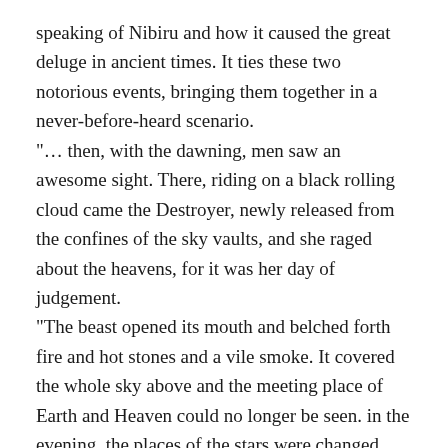speaking of Nibiru and how it caused the great deluge in ancient times. It ties these two notorious events, bringing them together in a never-before-heard scenario. "... then, with the dawning, men saw an awesome sight. There, riding on a black rolling cloud came the Destroyer, newly released from the confines of the sky vaults, and she raged about the heavens, for it was her day of judgement. "The beast opened its mouth and belched forth fire and hot stones and a vile smoke. It covered the whole sky above and the meeting place of Earth and Heaven could no longer be seen. in the evening, the places of the stars were changed, they rolled across the sky to new stations, then the floodwaters came. "The floodgates of heaven were opened and the foundations of Earth were broken apart. The surrounding waters poured over the land and broke upon the mountains. The storehouses of the wind burst their bolts asunder, so storms and whirlwinds were loosed to hurl